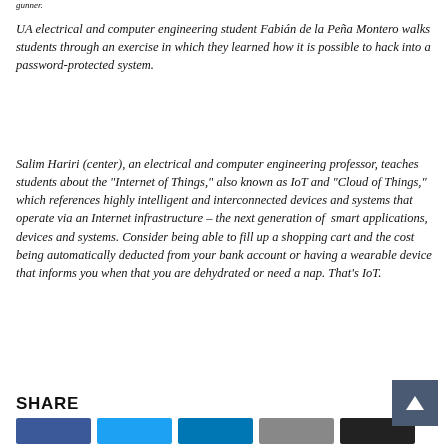gunner.
UA electrical and computer engineering student Fabián de la Peña Montero walks students through an exercise in which they learned how it is possible to hack into a password-protected system.
Salim Hariri (center), an electrical and computer engineering professor, teaches students about the "Internet of Things," also known as IoT and "Cloud of Things," which references highly intelligent and interconnected devices and systems that operate via an Internet infrastructure – the next generation of smart applications, devices and systems. Consider being able to fill up a shopping cart and the cost being automatically deducted from your bank account or having a wearable device that informs you when that you are dehydrated or need a nap. That's IoT.
SHARE